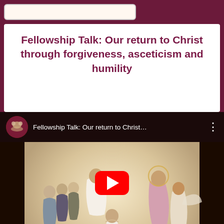Fellowship Talk: Our return to Christ through forgiveness, asceticism and humility
[Figure (screenshot): YouTube video embed showing a religious painting of Christ on a throne with saints and a kneeling figure, with a red YouTube play button overlay. Video title reads 'Fellowship Talk: Our return to Christ...' with channel icon on left and three-dot menu on right.]